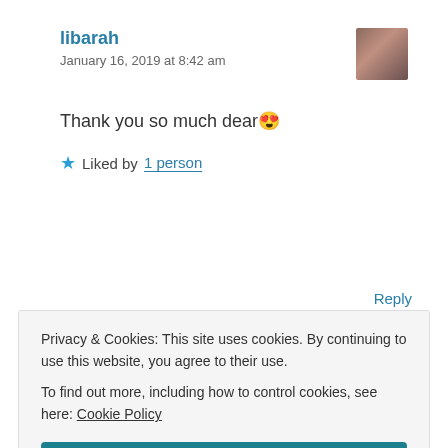libarah
January 16, 2019 at 8:42 am
Thank you so much dear 😍
★ Liked by 1 person
Reply
Privacy & Cookies: This site uses cookies. By continuing to use this website, you agree to their use.
To find out more, including how to control cookies, see here: Cookie Policy
Close and accept
Reply